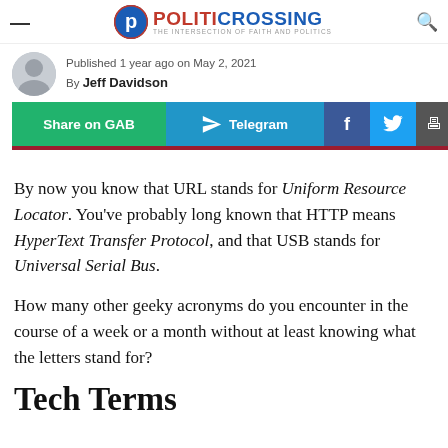POLITICROSSING — THE INTERSECTION OF FAITH AND POLITICS
Published 1 year ago on May 2, 2021
By Jeff Davidson
[Figure (infographic): Social share buttons: Share on GAB (green), Telegram (blue with arrow icon), Facebook (blue f), Twitter (blue bird), and a partially visible print/share button]
By now you know that URL stands for Uniform Resource Locator. You've probably long known that HTTP means HyperText Transfer Protocol, and that USB stands for Universal Serial Bus.
How many other geeky acronyms do you encounter in the course of a week or a month without at least knowing what the letters stand for?
Tech Terms